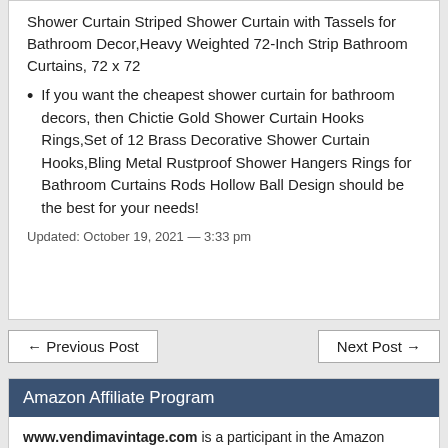Shower Curtain Striped Shower Curtain with Tassels for Bathroom Decor,Heavy Weighted 72-Inch Strip Bathroom Curtains, 72 x 72
If you want the cheapest shower curtain for bathroom decors, then Chictie Gold Shower Curtain Hooks Rings,Set of 12 Brass Decorative Shower Curtain Hooks,Bling Metal Rustproof Shower Hangers Rings for Bathroom Curtains Rods Hollow Ball Design should be the best for your needs!
Updated: October 19, 2021 — 3:33 pm
← Previous Post
Next Post →
Amazon Affiliate Program
www.vendimavintage.com is a participant in the Amazon Services LLC Associates Program. As an Amazon Associate, I earn from qualifying purchases by linking to Amazon.com and affiliated sites.